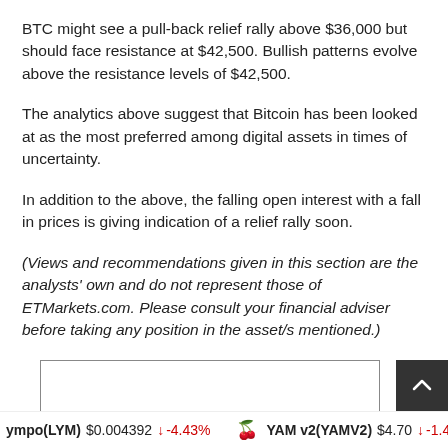BTC might see a pull-back relief rally above $36,000 but should face resistance at $42,500. Bullish patterns evolve above the resistance levels of $42,500.
The analytics above suggest that Bitcoin has been looked at as the most preferred among digital assets in times of uncertainty.
In addition to the above, the falling open interest with a fall in prices is giving indication of a relief rally soon.
(Views and recommendations given in this section are the analysts' own and do not represent those of ETMarkets.com. Please consult your financial adviser before taking any position in the asset/s mentioned.)
ympo(LYM) $0.004392 ↓ -4.43%   YAM v2(YAMV2) $4.70 ↓ -1.41